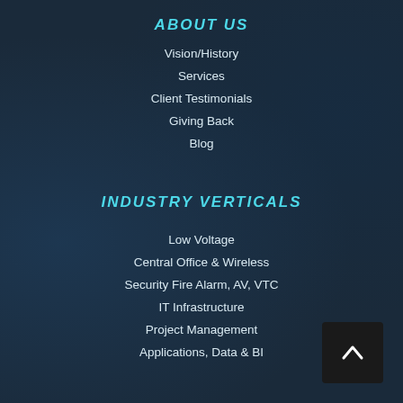ABOUT US
Vision/History
Services
Client Testimonials
Giving Back
Blog
INDUSTRY VERTICALS
Low Voltage
Central Office & Wireless
Security Fire Alarm, AV, VTC
IT Infrastructure
Project Management
Applications, Data & BI
WORK FOR US
The Verigent Difference